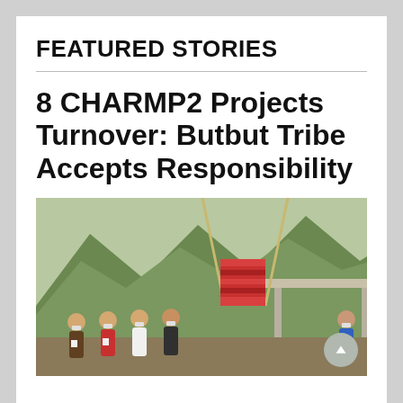FEATURED STORIES
8 CHARMP2 Projects Turnover: Butbut Tribe Accepts Responsibility
[Figure (photo): Outdoor scene showing a group of people wearing face masks gathered near a concrete structure with a thatched/woven textile hanging between bamboo poles. Mountainous green landscape visible in the background.]